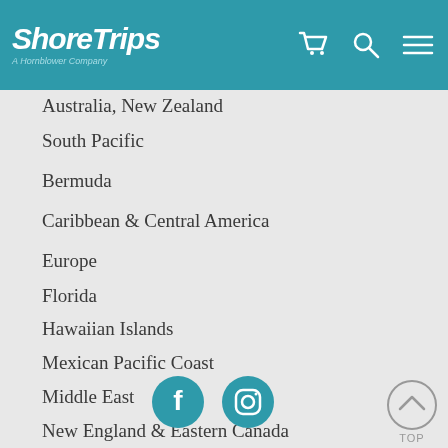ShoreTrips — A Hornblower Company
Australia, New Zealand
South Pacific
Bermuda
Caribbean & Central America
Europe
Florida
Hawaiian Islands
Mexican Pacific Coast
Middle East
New England & Eastern Canada
South America
United States Lower Forty-Eight
[Figure (logo): Facebook icon circle]
[Figure (logo): Instagram icon circle]
[Figure (other): TOP scroll-to-top button]